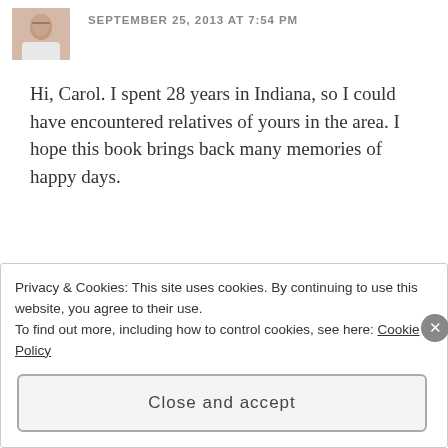[Figure (photo): Small avatar photo of a person, appears to be a woman with glasses]
SEPTEMBER 25, 2013 AT 7:54 PM
Hi, Carol. I spent 28 years in Indiana, so I could have encountered relatives of yours in the area. I hope this book brings back many memories of happy days.
★ Like
Reply
Privacy & Cookies: This site uses cookies. By continuing to use this website, you agree to their use.
To find out more, including how to control cookies, see here: Cookie Policy
Close and accept